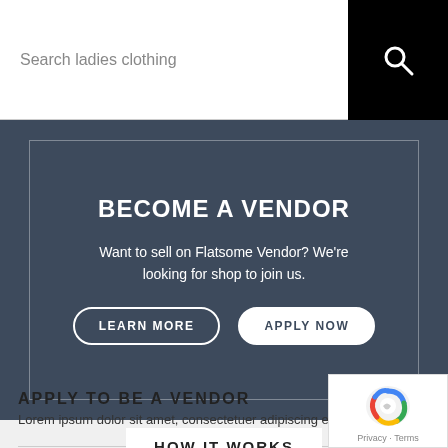Search ladies clothing
BECOME A VENDOR
Want to sell on Flatsome Vendor? We're looking for shop to join us.
LEARN MORE   APPLY NOW
HOW IT WORKS
APPLY TO BE A VENDOR
Lorem ipsum dolor sit amet, consectetuer adipiscing elit, sed